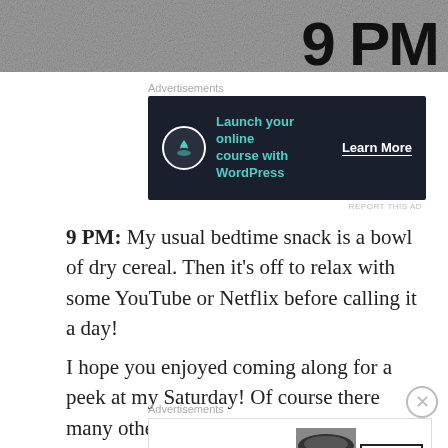[Figure (photo): Top banner image showing '9 PM' text in large bold font over a dark textured background]
Advertisements
[Figure (screenshot): Dark advertisement banner: 'Launch your online course with WordPress' with Learn More button]
REPORT THIS AD
9 PM: My usual bedtime snack is a bowl of dry cereal. Then it's off to relax with some YouTube or Netflix before calling it a day!
I hope you enjoyed coming along for a peek at my Saturday! Of course there many other things I did during the day...but I tried to capture the
Advertisements
[Figure (screenshot): Bloomingdale's advertisement: 'View Today's Top Deals!' with SHOP NOW > button]